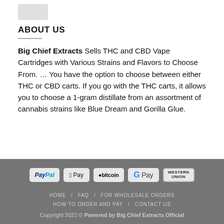[Figure (photo): Small product image/logo placeholder at top]
ABOUT US
Big Chief Extracts Sells THC and CBD Vape Cartridges with Various Strains and Flavors to Choose From. … You have the option to choose between either THC or CBD carts. If you go with the THC carts, it allows you to choose a 1-gram distillate from an assortment of cannabis strains like Blue Dream and Gorilla Glue.
[Figure (logo): Payment method badges: PayPal, Apple Pay, bitcoin, G Pay, Western Union]
HOME  FAQ  FOR WHOLESALE ORDERS  HOW TO ORDER AND PAY  CONTACT US
Copyright 2022 © Powered by Big Chief Extracts Official